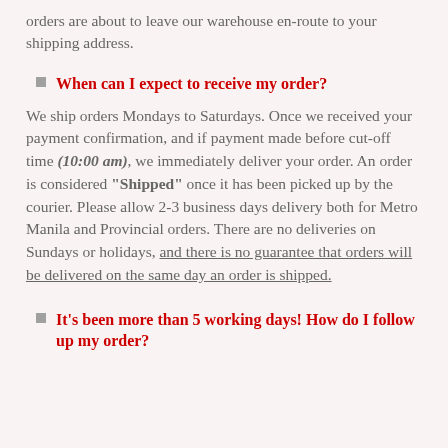orders are about to leave our warehouse en-route to your shipping address.
When can I expect to receive my order?
We ship orders Mondays to Saturdays. Once we received your payment confirmation, and if payment made before cut-off time (10:00 am), we immediately deliver your order. An order is considered “Shipped” once it has been picked up by the courier. Please allow 2-3 business days delivery both for Metro Manila and Provincial orders. There are no deliveries on Sundays or holidays, and there is no guarantee that orders will be delivered on the same day an order is shipped.
It's been more than 5 working days! How do I follow up my order?